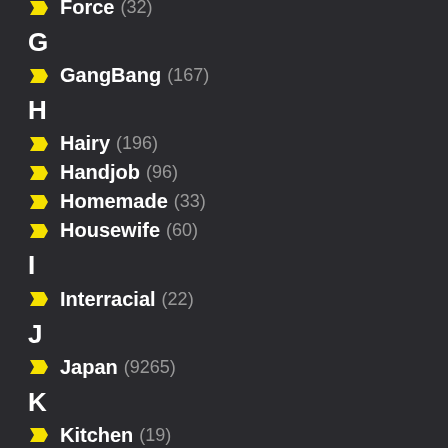Force (32)
G
GangBang (167)
H
Hairy (196)
Handjob (96)
Homemade (33)
Housewife (60)
I
Interracial (22)
J
Japan (9265)
K
Kitchen (19)
Korean (17)
L
Lesbians (36)